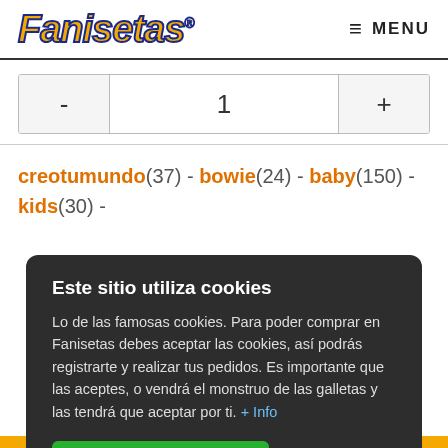[Figure (logo): Fanisetas logo in orange italic bold font with dark blue outline, with registered trademark symbol]
≡ MENU
- 1 +
creotumundo(37) - bowie(24) - baby(150) - kids(30) -
Este sitio utiliza cookies
Lo de las famosas cookies. Para poder comprar en Fanisetas debes aceptar las cookies, así podrás registrarte y realizar tus pedidos. Es importante que las aceptes, o vendrá el monstruo de las galletas y las tendrá que aceptar por ti. + Info
Acepto todas las Cookies
Cambiar opciones